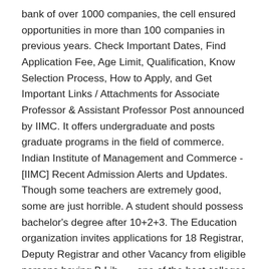bank of over 1000 companies, the cell ensured opportunities in more than 100 companies in previous years. Check Important Dates, Find Application Fee, Age Limit, Qualification, Know Selection Process, How to Apply, and Get Important Links / Attachments for Associate Professor & Assistant Professor Post announced by IIMC. It offers undergraduate and posts graduate programs in the field of commerce. Indian Institute of Management and Commerce - [IIMC] Recent Admission Alerts and Updates. Though some teachers are extremely good, some are just horrible. A student should possess bachelor's degree after 10+2+3. The Education organization invites applications for 18 Registrar, Deputy Registrar and other Vacancy from eligible persons having B.Lib, … one of the best colleges for Bcom Honours in Hyderabad and also it was the first college in hyderabad to provide this course way back in 1970s. Get details here. Members of Vysya Community in particular and admirers of Higher Education in general are greatly beholden to the Founders. Several students from Osmania University Affiliated College fear about the continuous semester examination that will commence by the end of this month. Application download link has been sent on your phone number via SMS. No degrees